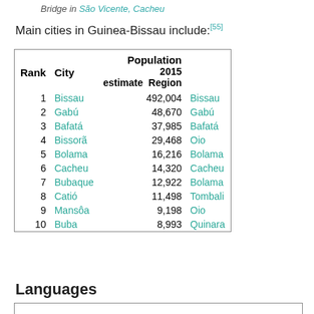Bridge in São Vicente, Cacheu
Main cities in Guinea-Bissau include:[55]
| Rank | City | Population 2015 estimate | Region |
| --- | --- | --- | --- |
| 1 | Bissau | 492,004 | Bissau |
| 2 | Gabú | 48,670 | Gabú |
| 3 | Bafatá | 37,985 | Bafatá |
| 4 | Bissorã | 29,468 | Oio |
| 5 | Bolama | 16,216 | Bolama |
| 6 | Cacheu | 14,320 | Cacheu |
| 7 | Bubaque | 12,922 | Bolama |
| 8 | Catió | 11,498 | Tombali |
| 9 | Mansôa | 9,198 | Oio |
| 10 | Buba | 8,993 | Quinara |
Languages